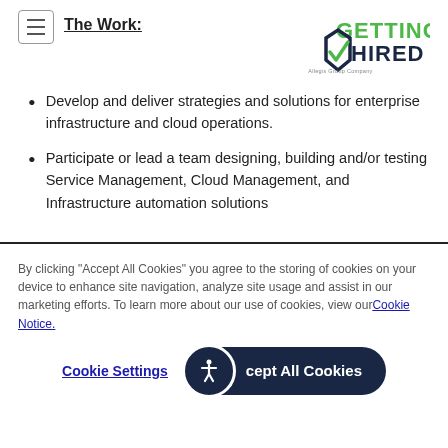Getting Hired — An Allegis Group Company
The Work:
Develop and deliver strategies and solutions for enterprise infrastructure and cloud operations.
Participate or lead a team designing, building and/or testing Service Management, Cloud Management, and Infrastructure automation solutions
By clicking "Accept All Cookies" you agree to the storing of cookies on your device to enhance site navigation, analyze site usage and assist in our marketing efforts. To learn more about our use of cookies, view our Cookie Notice.
Cookie Settings | Accept All Cookies